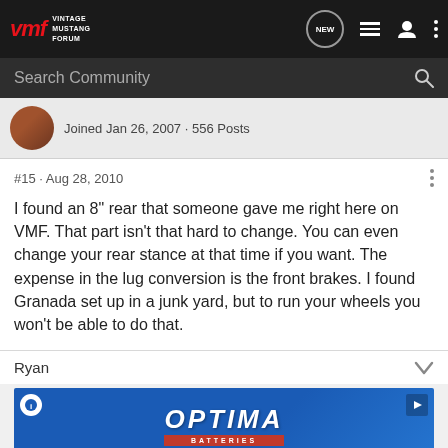Vintage Mustang Forum
Search Community
Joined Jan 26, 2007 · 556 Posts
#15 · Aug 28, 2010
I found an 8" rear that someone gave me right here on VMF. That part isn't that hard to change. You can even change your rear stance at that time if you want. The expense in the lug conversion is the front brakes. I found Granada set up in a junk yard, but to run your wheels you won't be able to do that.
Ryan
[Figure (photo): Optima Batteries advertisement banner with blue background]